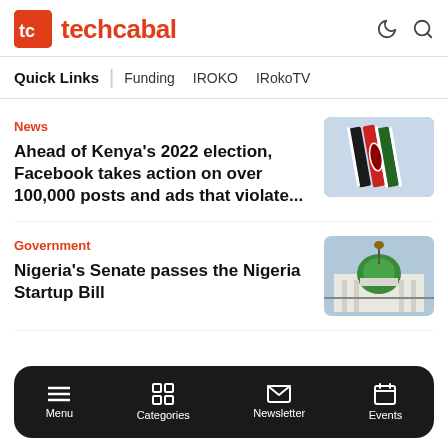techcabal
Quick Links | Funding  IROKO  IRokoTV
News
Ahead of Kenya's 2022 election, Facebook takes action on over 100,000 posts and ads that violate...
[Figure (photo): Kenya flag photo]
Government
Nigeria's Senate passes the Nigeria Startup Bill
[Figure (photo): Nigeria National Assembly building with green dome]
Menu  Categories  Newsletter  Events